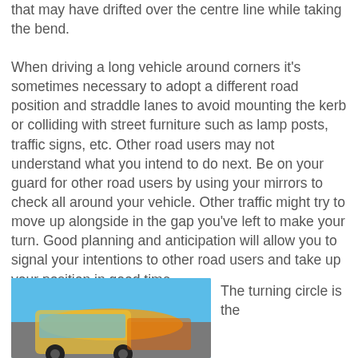that may have drifted over the centre line while taking the bend.
When driving a long vehicle around corners it's sometimes necessary to adopt a different road position and straddle lanes to avoid mounting the kerb or colliding with street furniture such as lamp posts, traffic signs, etc. Other road users may not understand what you intend to do next. Be on your guard for other road users by using your mirrors to check all around your vehicle. Other traffic might try to move up alongside in the gap you've left to make your turn. Good planning and anticipation will allow you to signal your intentions to other road users and take up your position in good time.
[Figure (photo): Photo of a large vehicle (bus or truck) navigating a turn, showing its turning circle in a road setting.]
The turning circle is the